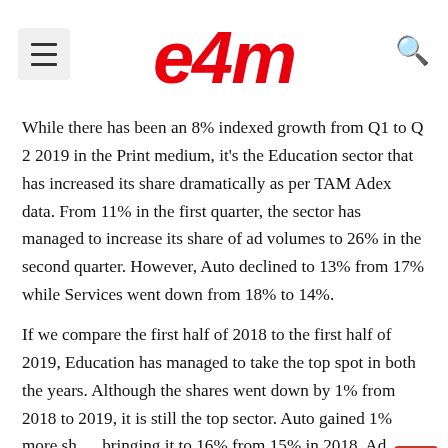e4m
While there has been an 8% indexed growth from Q1 to Q 2 2019 in the Print medium, it’s the Education sector that has increased its share dramatically as per TAM Adex data. From 11% in the first quarter, the sector has managed to increase its share of ad volumes to 26% in the second quarter. However, Auto declined to 13% from 17% while Services went down from 18% to 14%.
If we compare the first half of 2018 to the first half of 2019, Education has managed to take the top spot in both the years. Although the shares went down by 1% from 2018 to 2019, it is still the top sector. Auto gained 1% more sh bringing it to 16% from 15% in 2018. Ad volumes have